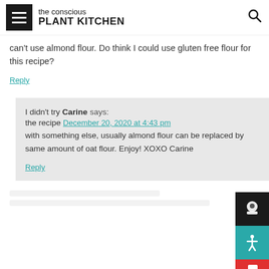the conscious PLANT KITCHEN
can't use almond flour. Do think I could use gluten free flour for this recipe?
Reply
I didn't try Carine says: the recipe December 20, 2020 at 4:43 pm with something else, usually almond flour can be replaced by same amount of oat flour. Enjoy! XOXO Carine
Reply